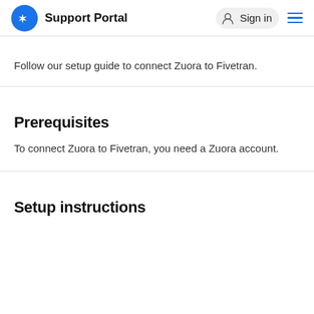Support Portal   Sign in
Follow our setup guide to connect Zuora to Fivetran.
Prerequisites
To connect Zuora to Fivetran, you need a Zuora account.
Setup instructions